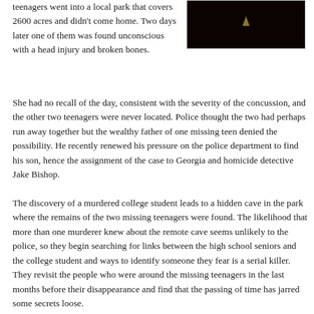teenagers went into a local park that covers 2600 acres and didn't come home. Two days later one of them was found unconscious with a head injury and broken bones. She had no recall of the day, consistent with the severity of the concussion, and the other two teenagers were never located. Police thought the two had perhaps run away together but the wealthy father of one missing teen denied the possibility. He recently renewed his pressure on the police department to find his son, hence the assignment of the case to Georgia and homicide detective Jake Bishop.
[Figure (photo): Dark photograph showing a dimly lit figure or silhouette against a very dark background with a small triangular light element visible.]
The discovery of a murdered college student leads to a hidden cave in the park where the remains of the two missing teenagers were found. The likelihood that more than one murderer knew about the remote cave seems unlikely to the police, so they begin searching for links between the high school seniors and the college student and ways to identify someone they fear is a serial killer. They revisit the people who were around the missing teenagers in the last months before their disappearance and find that the passing of time has jarred some secrets loose.